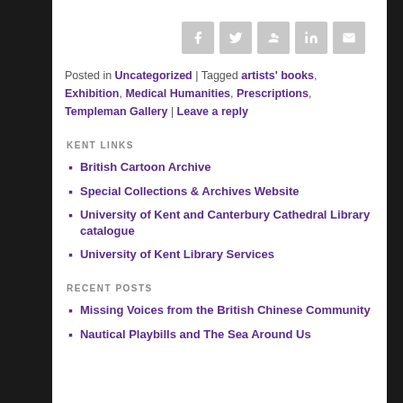[Figure (other): Social sharing icons: Facebook, Twitter, Google+, LinkedIn, Email]
Posted in Uncategorized | Tagged artists' books, Exhibition, Medical Humanities, Prescriptions, Templeman Gallery | Leave a reply
KENT LINKS
British Cartoon Archive
Special Collections & Archives Website
University of Kent and Canterbury Cathedral Library catalogue
University of Kent Library Services
RECENT POSTS
Missing Voices from the British Chinese Community
Nautical Playbills and The Sea Around Us